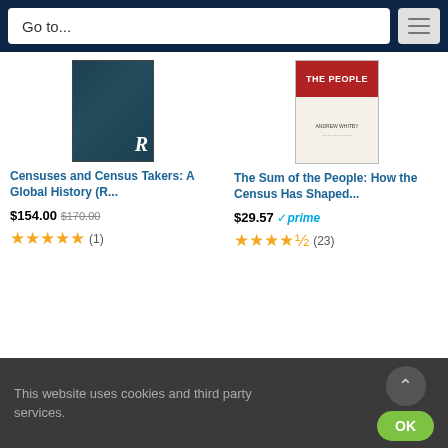Go to...
[Figure (photo): Book cover: Censuses and Census Takers: A Global History (dark teal cover with R logo)]
Censuses and Census Takers: A Global History (R...
$154.00 $170.00
[Figure (other): 5-star rating with 1 review: ★★★★★ (1)]
[Figure (photo): Book cover: The Sum of the People: How the Census Has Shaped... (red and white cover by Andrew Whitby)]
The Sum of the People: How the Census Has Shaped...
$29.57 ✓prime
[Figure (other): 4.5-star rating with 23 reviews: ★★★★½ (23)]
Ads by Amazon
SEARCH IN RESOURCES
IN Birth Records
IN Marriage Records
IN Divorce Records
IN Death Records
IN Ancestor Records
This website uses cookies and third party services.